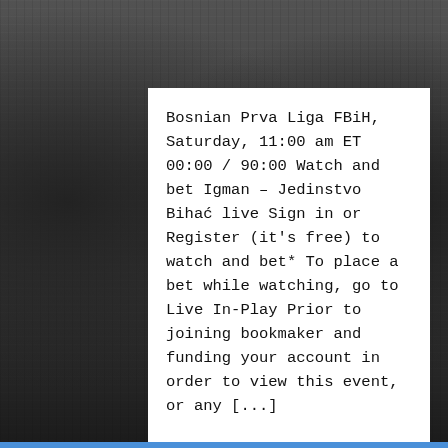[Figure (photo): Black and white background photo of football players in action, with dark grainy texture]
Bosnian Prva Liga FBiH, Saturday, 11:00 am ET 00:00 / 90:00 Watch and bet Igman – Jedinstvo Bihać live Sign in or Register (it's free) to watch and bet* To place a bet while watching, go to Live In-Play Prior to joining bookmaker and funding your account in order to view this event, or any [...]
Read More